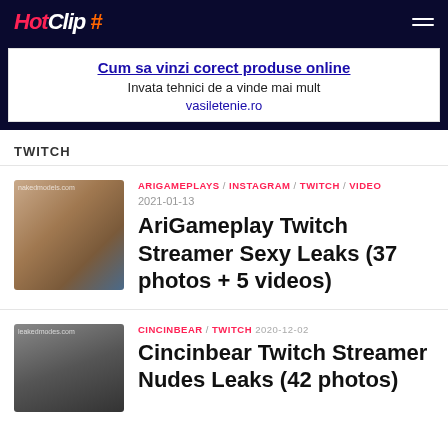HotClip #
[Figure (infographic): Advertisement banner: Cum sa vinzi corect produse online / Invata tehnici de a vinde mai mult / vasiletenie.ro]
TWITCH
[Figure (photo): Thumbnail photo of AriGameplays]
ARIGAMEPLAYS / INSTAGRAM / TWITCH / VIDEO 2021-01-13
AriGameplay Twitch Streamer Sexy Leaks (37 photos + 5 videos)
[Figure (photo): Thumbnail photo of Cincinbear]
CINCINBEAR / TWITCH 2020-12-02
Cincinbear Twitch Streamer Nudes Leaks (42 photos)